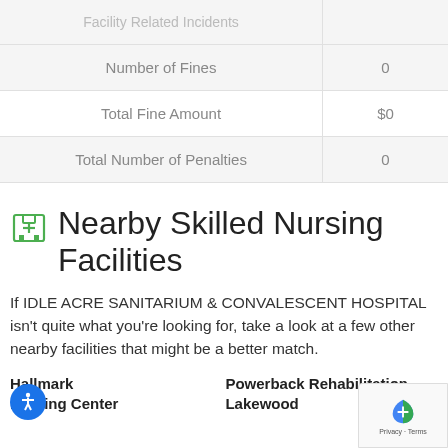|  |  |
| --- | --- |
| Facility Related Incidents |  |
| Number of Fines | 0 |
| Total Fine Amount | $0 |
| Total Number of Penalties | 0 |
Nearby Skilled Nursing Facilities
If IDLE ACRE SANITARIUM & CONVALESCENT HOSPITAL isn't quite what you're looking for, take a look at a few other nearby facilities that might be a better match.
Hallmark Nursing Center
Powerback Rehabilitation Lakewood